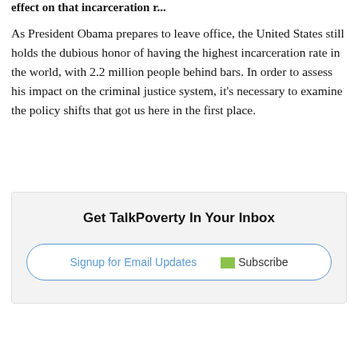effect on that incarceration r...
As President Obama prepares to leave office, the United States still holds the dubious honor of having the highest incarceration rate in the world, with 2.2 million people behind bars. In order to assess his impact on the criminal justice system, it’s necessary to examine the policy shifts that got us here in the first place.
[Figure (other): Signup box with heading 'Get TalkPoverty In Your Inbox' and a button containing 'Signup for Email Updates' link and 'Subscribe' image/button]